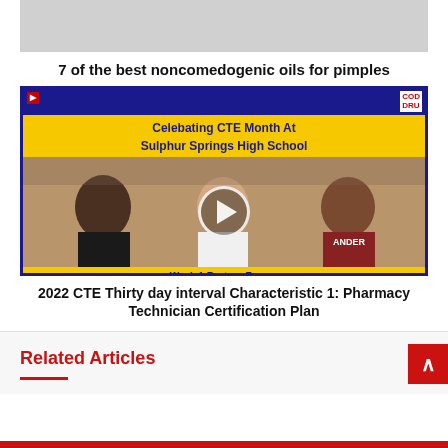[Figure (screenshot): Gray image placeholder at top]
7 of the best noncomedogenic oils for pimples
[Figure (screenshot): Video thumbnail: Celebrating CTE Month At Sulphur Springs High School. Shows three women seated, with a play button overlay. Blue border. COD DRU logo top right. Week 1 Feature Focus text at bottom.]
2022 CTE Thirty day interval Characteristic 1: Pharmacy Technician Certification Plan
Related Articles